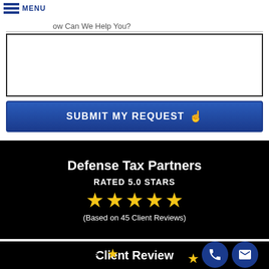nail Address
ow Can We Help You?
SUBMIT MY REQUEST 👆
Defense Tax Partners
RATED 5.0 STARS
[Figure (infographic): Five gold stars rating]
(Based on 45 Client Reviews)
Client Review
Calling Defense Tax is the best choice